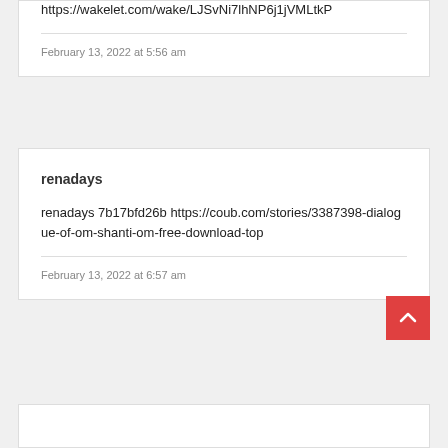https://wakelet.com/wake/LJSvNi7lhNP6j1jVMLtkP
February 13, 2022 at 5:56 am
renadays
renadays 7b17bfd26b https://coub.com/stories/3387398-dialogue-of-om-shanti-om-free-download-top
February 13, 2022 at 6:57 am